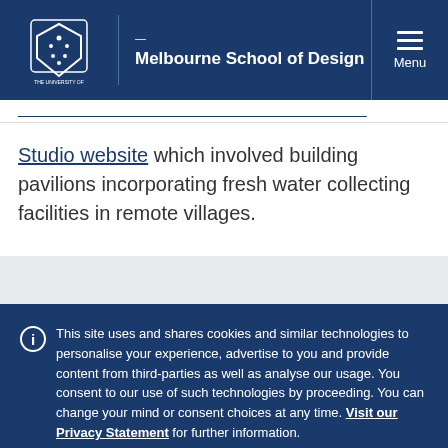Melbourne School of Design
Studio website which involved building pavilions incorporating fresh water collecting facilities in remote villages.
This site uses and shares cookies and similar technologies to personalise your experience, advertise to you and provide content from third-parties as well as analyse our usage. You consent to our use of such technologies by proceeding. You can change your mind or consent choices at any time. Visit our Privacy Statement for further information.
Accept cookies
Cookie Preferences